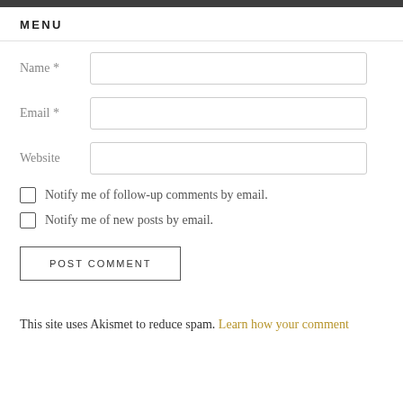MENU
Name *
Email *
Website
Notify me of follow-up comments by email.
Notify me of new posts by email.
POST COMMENT
This site uses Akismet to reduce spam. Learn how your comment